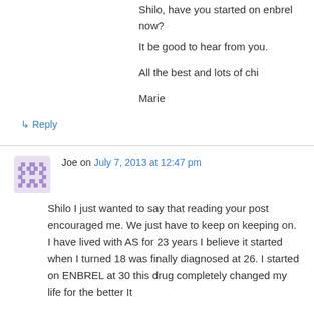Shilo, have you started on enbrel now?
It be good to hear from you.

All the best and lots of chi

Marie
↳ Reply
Joe on July 7, 2013 at 12:47 pm
Shilo I just wanted to say that reading your post encouraged me. We just have to keep on keeping on. I have lived with AS for 23 years I believe it started when I turned 18 was finally diagnosed at 26. I started on ENBREL at 30 this drug completely changed my life for the better It